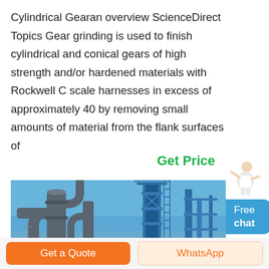Cylindrical Gearan overview ScienceDirect Topics Gear grinding is used to finish cylindrical and conical gears of high strength and/or hardened materials with Rockwell C scale harnesses in excess of approximately 40 by removing small amounts of material from the flank surfaces of
Get Price
[Figure (photo): Industrial machinery photograph showing large metal pipes/ducts and a blue steel structure against a clear blue sky, likely a grinding or processing plant.]
Get a Quote
WhatsApp